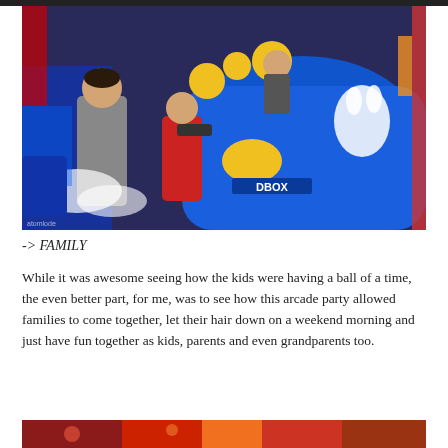[Figure (photo): Children posing in front of a large blue arcade ride machine labeled DBOX in a colorful arcade venue. A girl in grey, a boy in red holding a toy gun, and another child visible in background.]
-> FAMILY
While it was awesome seeing how the kids were having a ball of a time, the even better part, for me, was to see how this arcade party allowed families to come together, let their hair down on a weekend morning and just have fun together as kids, parents and even grandparents too.
[Figure (photo): Partial view of another photo at the bottom of the page showing a colorful arcade environment.]